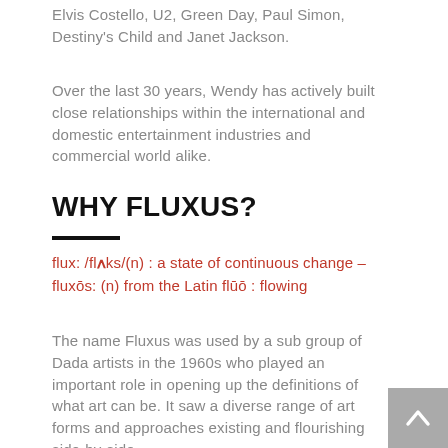Elvis Costello, U2, Green Day, Paul Simon, Destiny's Child and Janet Jackson.
Over the last 30 years, Wendy has actively built close relationships within the international and domestic entertainment industries and commercial world alike.
WHY FLUXUS?
flux: /flʌks/(n): a state of continuous change – fluxōs: (n) from the Latin flūō : flowing
The name Fluxus was used by a sub group of Dada artists in the 1960s who played an important role in opening up the definitions of what art can be. It saw a diverse range of art forms and approaches existing and flourishing side-by-side.